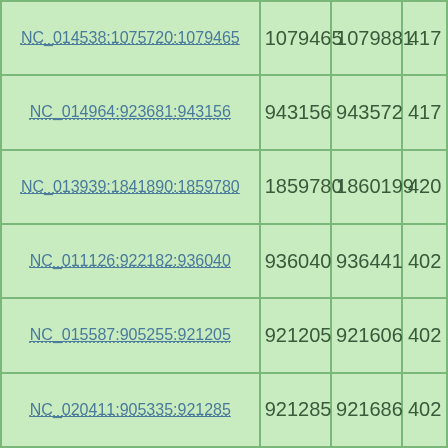| NC_014538:1075720:1079465 | 1079465 | 1079881 | 417 |
| NC_014964:923681:943156 | 943156 | 943572 | 417 |
| NC_013939:1841890:1859780 | 1859780 | 1860199 | 420 |
| NC_011126:922182:936040 | 936040 | 936441 | 402 |
| NC_015587:905255:921205 | 921205 | 921606 | 402 |
| NC_020411:905335:921285 | 921285 | 921686 | 402 |